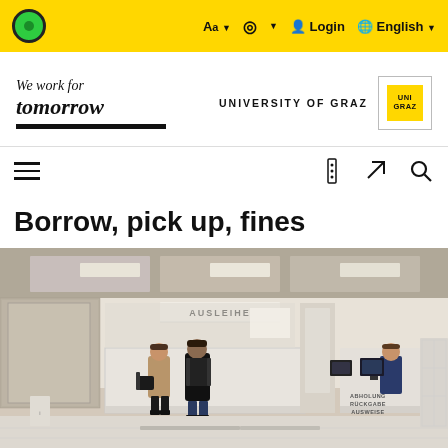University of Graz website header with accessibility controls, language selector, and login
[Figure (logo): We work for tomorrow — University of Graz logo]
Borrow, pick up, fines
[Figure (photo): Interior of the University of Graz library loan desk (Ausleihe) showing the service counter with AUSLEIHE sign, students at the counter, and ABHOLUNG RÜCKGABE AUSWEISE sign on the desk]